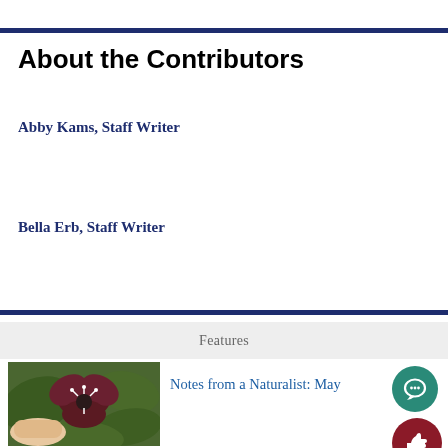About the Contributors
Abby Kams, Staff Writer
Bella Erb, Staff Writer
Features
[Figure (photo): A hand holding a dark red/maroon trillium flower with green leaves]
Notes from a Naturalist: May